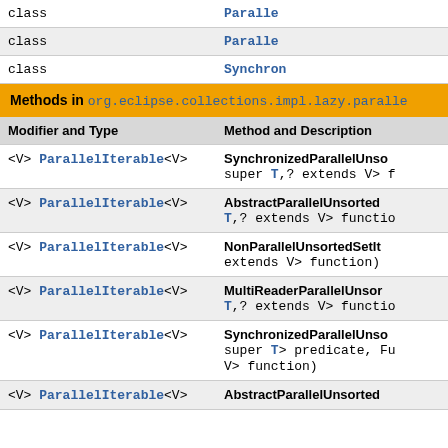| Modifier and Type | Method and Description |
| --- | --- |
| class | Paralle... |
| class | Paralle... |
| class | Synchron... |
Methods in org.eclipse.collections.impl.lazy.paralle...
| Modifier and Type | Method and Description |
| --- | --- |
| <V> ParallelIterable<V> | SynchronizedParallelUnso... super T,? extends V> f... |
| <V> ParallelIterable<V> | AbstractParallelUnsorted... T,? extends V> functio... |
| <V> ParallelIterable<V> | NonParallelUnsortedSetIt... extends V> function) |
| <V> ParallelIterable<V> | MultiReaderParallelUnsor... T,? extends V> functio... |
| <V> ParallelIterable<V> | SynchronizedParallelUnso... super T> predicate, Fu... V> function) |
| <V> ParallelIterable<V> | AbstractParallelUnsorted... |